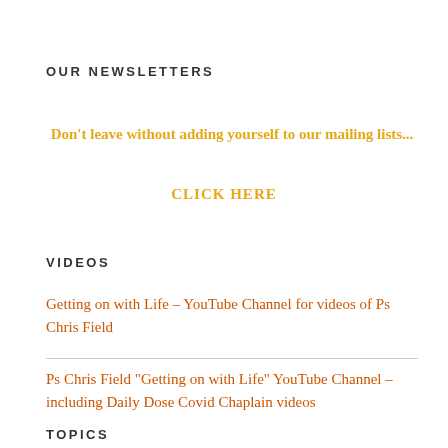OUR NEWSLETTERS
Don't leave without adding yourself to our mailing lists...
CLICK HERE
VIDEOS
Getting on with Life – YouTube Channel for videos of Ps Chris Field
Ps Chris Field "Getting on with Life" YouTube Channel – including Daily Dose Covid Chaplain videos
TOPICS